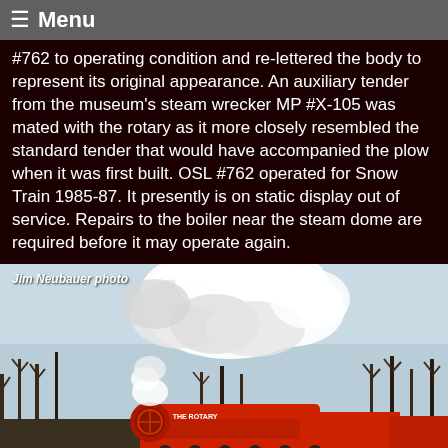≡ Menu
#762 to operating condition and re-lettered the body to represent its original appearance. An auxiliary tender from the museum's steam wrecker MP #X-105 was mated with the rotary as it more closely resembled the standard tender that would have accompanied the plow when it was first built. OSL #762 operated for Snow Train 1985-87. It presently is on static display out of service. Repairs to the boiler near the steam dome are required before it may operate again.
[Figure (photo): A steam rotary snowplow labeled 'THE ROTARY' in red, billowing large white smoke clouds, surrounded by bare winter trees. Photo credit: Jim Neubauer photo.]